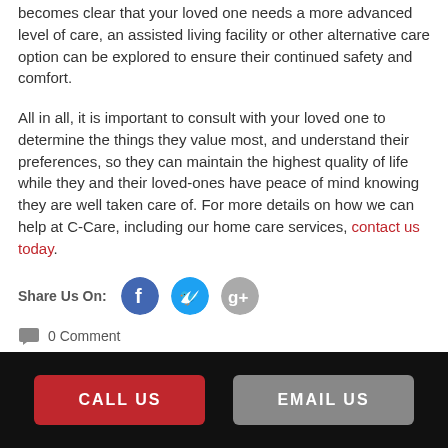becomes clear that your loved one needs a more advanced level of care, an assisted living facility or other alternative care option can be explored to ensure their continued safety and comfort.
All in all, it is important to consult with your loved one to determine the things they value most, and understand their preferences, so they can maintain the highest quality of life while they and their loved-ones have peace of mind knowing they are well taken care of. For more details on how we can help at C-Care, including our home care services, contact us today.
Share Us On:
0 Comment
CALL US
EMAIL US